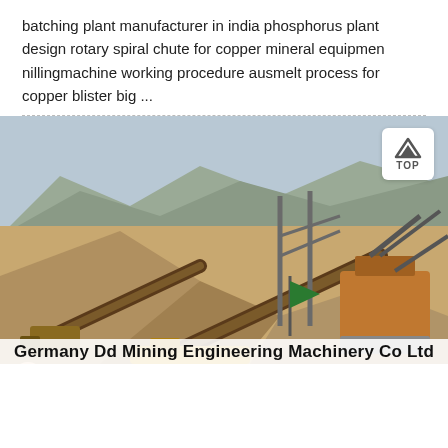batching plant manufacturer in india phosphorus plant design rotary spiral chute for copper mineral equipmen nillingmachine working procedure ausmelt process for copper blister big ...
[Figure (photo): Outdoor mining/quarry site with conveyor belts, crushing equipment, and stockpiles of aggregate material against a rocky hillside background. A green flag and orange machinery are visible.]
Germany Dd Mining Engineering Machinery Co Ltd